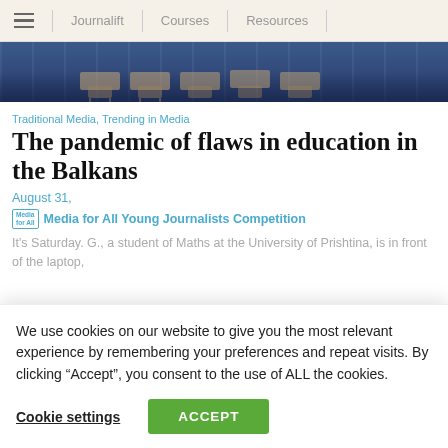Journalift  Courses  Resources
[Figure (photo): Classroom or cafe interior with chairs and tables, blue-toned lighting]
Traditional Media, Trending in Media
The pandemic of flaws in education in the Balkans
August 31,
Media for All Young Journalists Competition
It's Saturday. G., a student of Maths at the University of Prishtina, is in front of the laptop,
We use cookies on our website to give you the most relevant experience by remembering your preferences and repeat visits. By clicking “Accept”, you consent to the use of ALL the cookies.